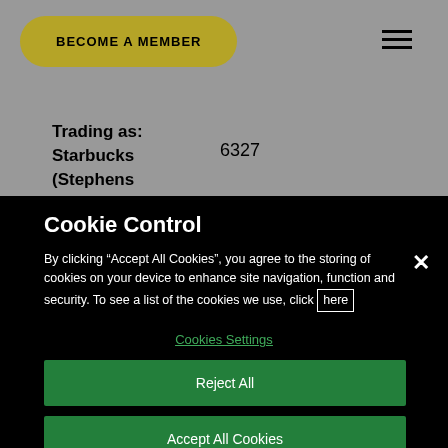BECOME A MEMBER
Trading as: Starbucks (Stephens
6327
Cookie Control
By clicking “Accept All Cookies”, you agree to the storing of cookies on your device to enhance site navigation, function and security. To see a list of the cookies we use, click here
Cookies Settings
Reject All
Accept All Cookies